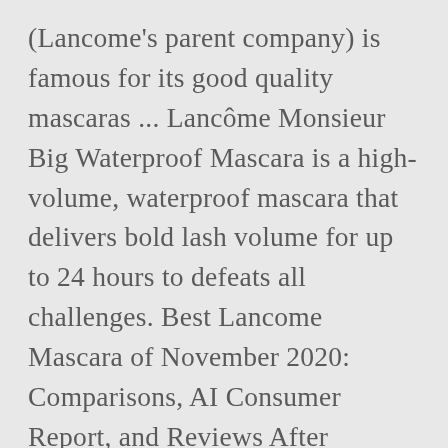(Lancome's parent company) is famous for its good quality mascaras ... Lancôme Monsieur Big Waterproof Mascara is a high-volume, waterproof mascara that delivers bold lash volume for up to 24 hours to defeats all challenges. Best Lancome Mascara of November 2020: Comparisons, AI Consumer Report, and Reviews After evaluating and analyzing in detail more than 37,956 customer satisfaction about Best Lancome Mascara, ... L'Oreal Voluminous Lash Paradise Waterproof Mascara This one was a pleasant surprise for me, because I'm not a huge fan of the original Lash Paradise formula. For mascara made with lower-quality ingredients that may ... Für